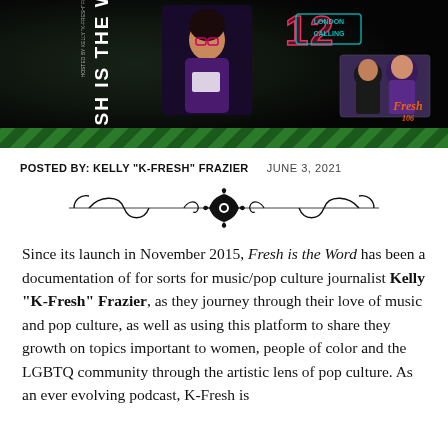[Figure (photo): Podcast promotional image for 'Fresh is the Word' with dark background, neon signs, illustrated character in purple jacket, and two hosts in video thumbnail. Green hazard-stripe banner at bottom.]
POSTED BY: KELLY "K-FRESH" FRAZIER   JUNE 3, 2021
[Figure (illustration): Decorative ornamental divider with scrollwork and floral motif in black.]
Since its launch in November 2015, Fresh is the Word has been a documentation of for sorts for music/pop culture journalist Kelly “K-Fresh” Frazier, as they journey through their love of music and pop culture, as well as using this platform to share they growth on topics important to women, people of color and the LGBTQ community through the artistic lens of pop culture. As an ever evolving podcast, K-Fresh is